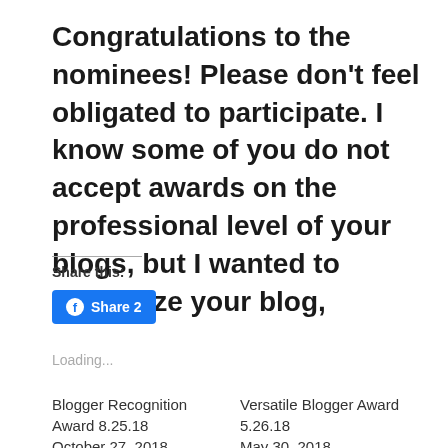Congratulations to the nominees! Please don't feel obligated to participate. I know some of you do not accept awards on the professional level of your blogs, but I wanted to recognize your blog,
Share this:
[Figure (other): Facebook Share button with count 2]
Loading...
Blogger Recognition Award 8.25.18
October 27, 2018
In "Awards & Tags"
Versatile Blogger Award 5.26.18
May 30, 2018
In "Awards & Tags"